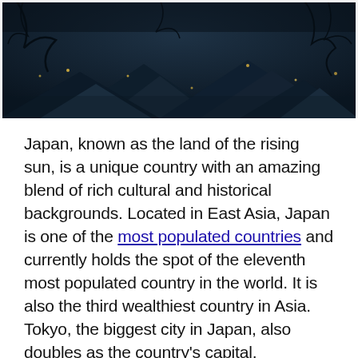[Figure (photo): Aerial/overhead view of traditional Japanese temple or shrine rooftops at night or dusk, dark moody tones with tree branches visible and small lights scattered through the scene.]
Japan, known as the land of the rising sun, is a unique country with an amazing blend of rich cultural and historical backgrounds. Located in East Asia, Japan is one of the most populated countries and currently holds the spot of the eleventh most populated country in the world. It is also the third wealthiest country in Asia. Tokyo, the biggest city in Japan, also doubles as the country's capital.
Japan is famous all around the world for its tasty cuisine, its rich historical music, the arts, and its well-known culture. Japan has also dominated the